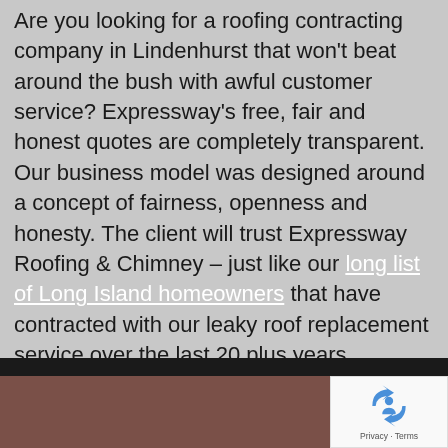Are you looking for a roofing contracting company in Lindenhurst that won't beat around the bush with awful customer service? Expressway's free, fair and honest quotes are completely transparent. Our business model was designed around a concept of fairness, openness and honesty. The client will trust Expressway Roofing & Chimney – just like our long list of Long Island homeowners that have contracted with our leaky roof replacement service over the last 20 plus years.
[Figure (photo): Dark bottom bar and brownish-red roof surface photo at the bottom of the page, with a reCAPTCHA privacy badge in the bottom-right corner.]